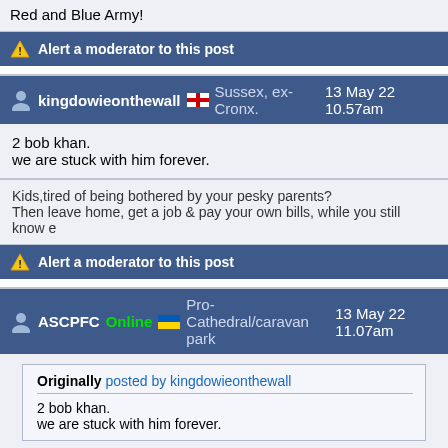Red and Blue Army!
Alert a moderator to this post
kingdowieonthewall  Sussex, ex-Cronx. 13 May 22 10.57am
2 bob khan.
we are stuck with him forever.
Kids,tired of being bothered by your pesky parents?
Then leave home, get a job & pay your own bills, while you still know e
Alert a moderator to this post
ASCPFC Online  Pro-Cathedral/caravan park 13 May 22 11.07am
Originally posted by kingdowieonthewall
2 bob khan.
we are stuck with him forever.
Next Prime Minister.